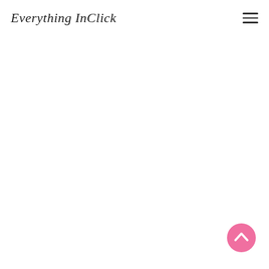Everything InClick
[Figure (other): Back to top button — pink circular button with white upward chevron arrow, positioned at bottom right of page]